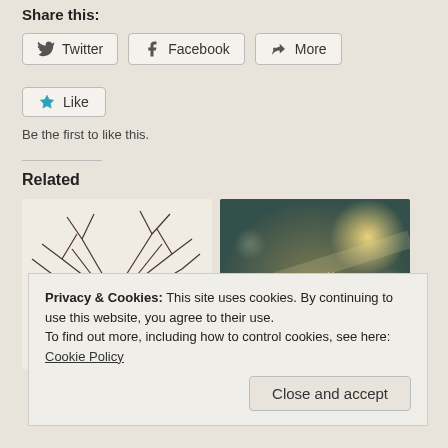Share this:
Twitter  Facebook  More
Like  Be the first to like this.
Related
[Figure (photo): Album art image showing thorny branches with red heart-like center on white background]
[Figure (photo): Album art image showing blurry bokeh lights with text 'orbit over luna']
Privacy & Cookies: This site uses cookies. By continuing to use this website, you agree to their use.
To find out more, including how to control cookies, see here: Cookie Policy
Close and accept